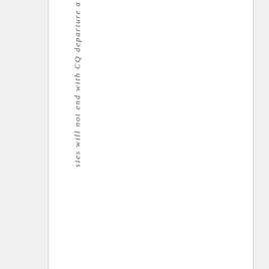sies will not end with CQ departure a